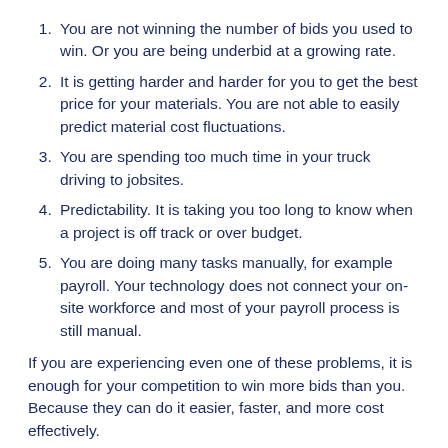You are not winning the number of bids you used to win. Or you are being underbid at a growing rate.
It is getting harder and harder for you to get the best price for your materials. You are not able to easily predict material cost fluctuations.
You are spending too much time in your truck driving to jobsites.
Predictability. It is taking you too long to know when a project is off track or over budget.
You are doing many tasks manually, for example payroll. Your technology does not connect your on-site workforce and most of your payroll process is still manual.
If you are experiencing even one of these problems, it is enough for your competition to win more bids than you. Because they can do it easier, faster, and more cost effectively.